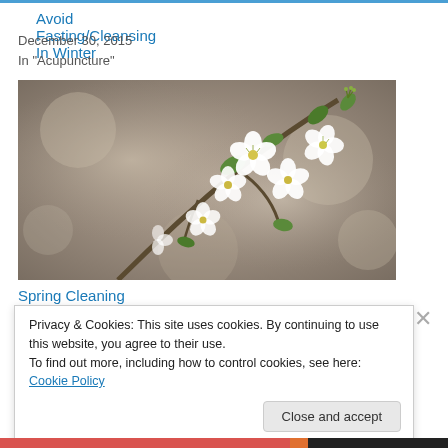Avoid Fasting/Cleansing In Winter
December 30, 2015
In "Acupuncture"
[Figure (photo): Close-up photo of white spring blossoms with green leaves on a branch against a blurred brown/grey background]
Spring Cleaning
Privacy & Cookies: This site uses cookies. By continuing to use this website, you agree to their use.
To find out more, including how to control cookies, see here: Cookie Policy